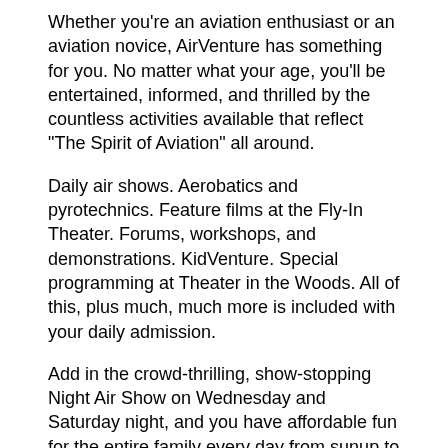Whether you're an aviation enthusiast or an aviation novice, AirVenture has something for you. No matter what your age, you'll be entertained, informed, and thrilled by the countless activities available that reflect "The Spirit of Aviation" all around.
Daily air shows. Aerobatics and pyrotechnics. Feature films at the Fly-In Theater. Forums, workshops, and demonstrations. KidVenture. Special programming at Theater in the Woods. All of this, plus much, much more is included with your daily admission.
Add in the crowd-thrilling, show-stopping Night Air Show on Wednesday and Saturday night, and you have affordable fun for the entire family every day from sunup to well past sundown.
There is uniqueness to each AirVenture that keeps lifelong attendees coming back for more. You need to experience it to understand.
Experience Oshkosh with us. It doesn't matter what you see; you just have to see it for yourself.
Facts & Fi...